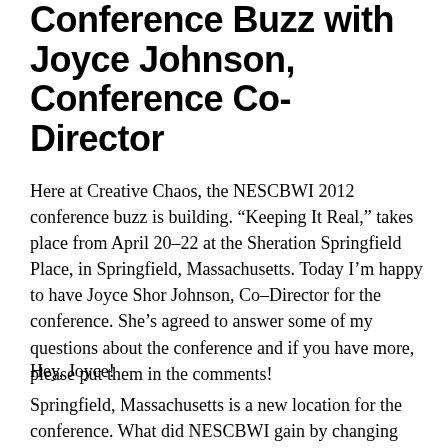Conference Buzz with Joyce Johnson, Conference Co-Director
Here at Creative Chaos, the NESCBWI 2012 conference buzz is building. “Keeping It Real,” takes place from April 20–22 at the Sheration Springfield Place, in Springfield, Massachusetts. Today I’m happy to have Joyce Shor Johnson, Co-Director for the conference. She’s agreed to answer some of my questions about the conference and if you have more, please put them in the comments!
Hey, Joyce!
Springfield, Massachusetts is a new location for the conference. What did NESCBWI gain by changing venues?